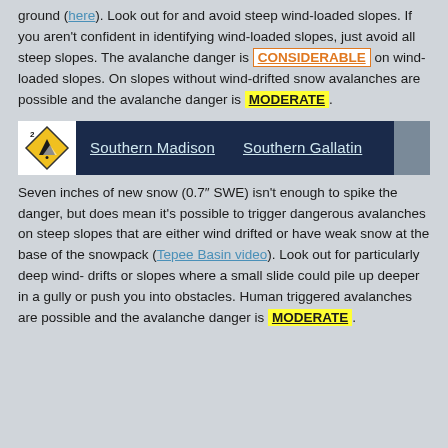ground (here). Look out for and avoid steep wind-loaded slopes. If you aren't confident in identifying wind-loaded slopes, just avoid all steep slopes. The avalanche danger is CONSIDERABLE on wind-loaded slopes. On slopes without wind-drifted snow avalanches are possible and the avalanche danger is MODERATE.
[Figure (infographic): Region header bar with avalanche danger level 2 diamond icon, showing Southern Madison and Southern Gallatin region links on dark navy background]
Seven inches of new snow (0.7" SWE) isn't enough to spike the danger, but does mean it's possible to trigger dangerous avalanches on steep slopes that are either wind drifted or have weak snow at the base of the snowpack (Tepee Basin video). Look out for particularly deep wind-drifts or slopes where a small slide could pile up deeper in a gully or push you into obstacles. Human triggered avalanches are possible and the avalanche danger is MODERATE.